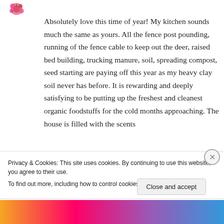[Figure (logo): Small decorative floral/snowflake logo in pink/red at top left]
Absolutely love this time of year! My kitchen sounds much the same as yours. All the fence post pounding, running of the fence cable to keep out the deer, raised bed building, trucking manure, soil, spreading compost, seed starting are paying off this year as my heavy clay soil never has before. It is rewarding and deeply satisfying to be putting up the freshest and cleanest organic foodstuffs for the cold months approaching. The house is filled with the scents
Privacy & Cookies: This site uses cookies. By continuing to use this website, you agree to their use.
To find out more, including how to control cookies, see here: Cookie Policy
Close and accept